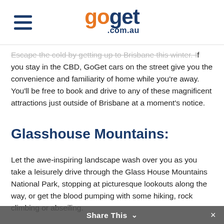goget.com.au
Escape the cold by getting up to Brisbane this winter. If you stay in the CBD, GoGet cars on the street give you the convenience and familiarity of home while you're away. You'll be free to book and drive to any of these magnificent attractions just outside of Brisbane at a moment's notice.
Glasshouse Mountains:
Let the awe-inspiring landscape wash over you as you take a leisurely drive through the Glass House Mountains National Park, stopping at picturesque lookouts along the way, or get the blood pumping with some hiking, rock climbing or abseiling.
Share This